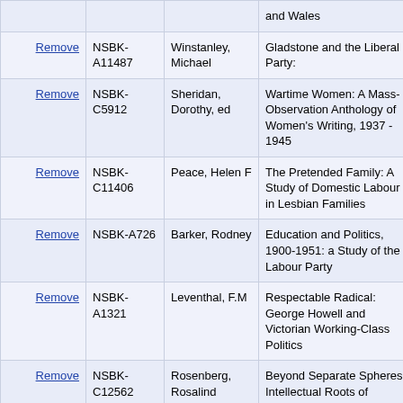|  | ID | Author | Title | Price |
| --- | --- | --- | --- | --- |
| Remove | NSBK-A11487 | Winstanley, Michael | Gladstone and the Liberal Party: | £5.9 |
| Remove | NSBK-C5912 | Sheridan, Dorothy, ed | Wartime Women: A Mass-Observation Anthology of Women's Writing, 1937 - 1945 | £11.9 |
| Remove | NSBK-C11406 | Peace, Helen F | The Pretended Family: A Study of Domestic Labour in Lesbian Families | £5.0 |
| Remove | NSBK-A726 | Barker, Rodney | Education and Politics, 1900-1951: a Study of the Labour Party | £4.5 |
| Remove | NSBK-A1321 | Leventhal, F.M | Respectable Radical: George Howell and Victorian Working-Class Politics | £8.0 |
| Remove | NSBK-C12562 | Rosenberg, Rosalind | Beyond Separate Spheres: Intellectual Roots of Modern | £8.9 |